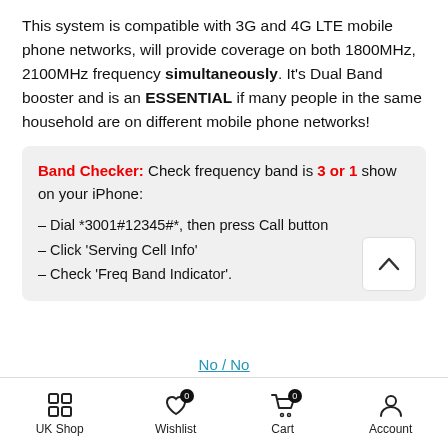This system is compatible with 3G and 4G LTE mobile phone networks, will provide coverage on both 1800MHz, 2100MHz frequency simultaneously. It's Dual Band booster and is an ESSENTIAL if many people in the same household are on different mobile phone networks!
Band Checker: Check frequency band is 3 or 1 show on your iPhone:
- Dial *3001#12345#*, then press Call button
- Click 'Serving Cell Info'
- Check 'Freq Band Indicator'.
No / No
- 1 + ADD TO CART
UK Shop  Wishlist 0  Cart 0  Account